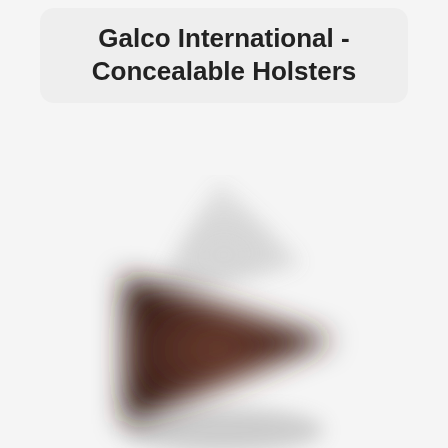Galco International - Concealable Holsters
[Figure (photo): A blurred/out-of-focus image of a brown leather concealment holster shown in a triangular profile view against a white background. The holster appears dark brown/reddish-brown in color.]